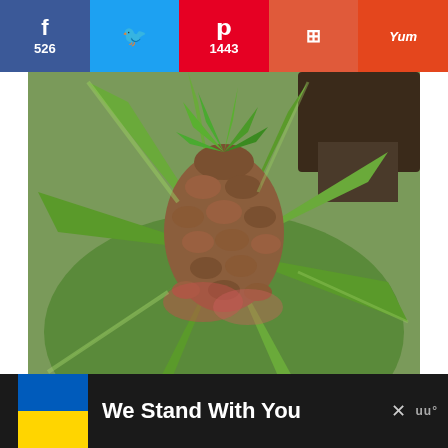[Figure (other): Social sharing bar with Facebook (526), Twitter, Pinterest (1443), Flipboard, and Yummly buttons]
[Figure (photo): Pineapple plant growing in a greenhouse, showing immature pineapple surrounded by long green leaves, soil visible in background]
Pineapples are grown in greenhouses on the Azores and take two years to mature. (Credit: Francisco Javier Sanchez)
[Figure (infographic): Bottom advertisement bar with Ukraine flag, text 'We Stand With You', close button, and brand logo on dark background]